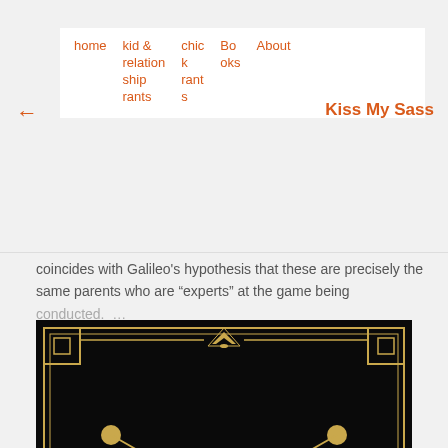home | kid & relationship rants | chic rants | Books | About | Kiss My Sass
coincides with Galileo's hypothesis that these are precisely the same parents who are “experts” at the game being conducted. ...
[Figure (illustration): Art deco styled black and gold decorative frame with 'THE RARING' text in gold letters on a dark banner, featuring geometric borders, diagonal lines, and a fan/shell motif at the top center.]
The Raring 20’s: What joy will you create this decade?
Every year I like to think of a slogan to encapsulate my vision for